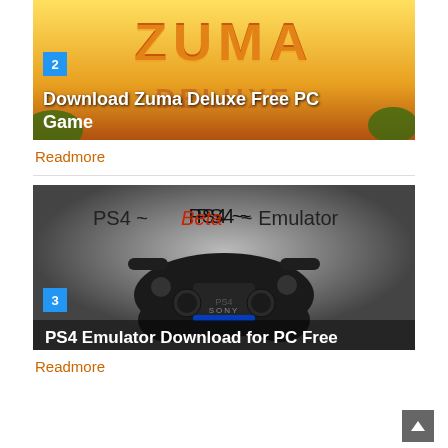[Figure (screenshot): Zuma Deluxe game banner with orange/yellow stone text logo and jungle background]
Download Zuma Deluxe Free PC Game
Readmore
[Figure (screenshot): PS4 Beta Emulator promotional image with DualShock 4 controller on grey gradient background, text reads PS4 ~Beta~ Emulator]
PS4 Emulator Download for PC Free
Readmore